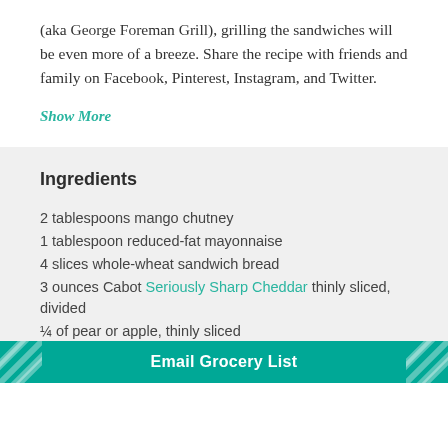(aka George Foreman Grill), grilling the sandwiches will be even more of a breeze. Share the recipe with friends and family on Facebook, Pinterest, Instagram, and Twitter.
Show More
Ingredients
2 tablespoons mango chutney
1 tablespoon reduced-fat mayonnaise
4 slices whole-wheat sandwich bread
3 ounces Cabot Seriously Sharp Cheddar thinly sliced, divided
¼ of pear or apple, thinly sliced
Cooking spray
Email Grocery List